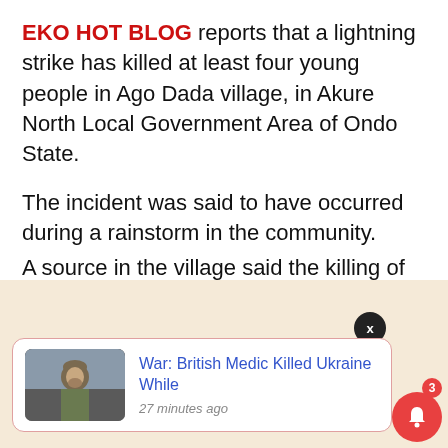EKO HOT BLOG reports that a lightning strike has killed at least four young people in Ago Dada village, in Akure North Local Government Area of Ondo State.
The incident was said to have occurred during a rainstorm in the community.
A source in the village said the killing of the young boys sparked a protest, which led to the destruction of property by enraged youths.
[Figure (screenshot): Notification card on beige background showing a thumbnail of a soldier and text: 'War: British Medic Killed Ukraine While' with timestamp '27 minutes ago'. A close button (X) and a bell icon with badge showing 3 are also visible.]